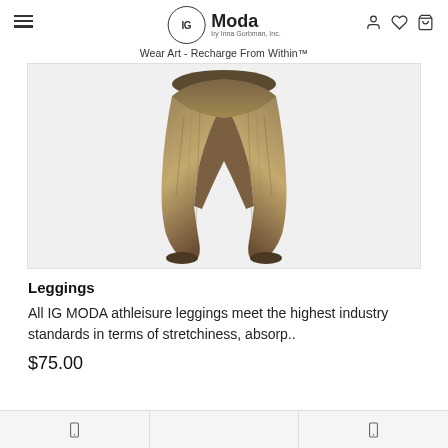IG Moda by Inna Gorbman, Inc. — Wear Art - Recharge From Within™
[Figure (photo): Product photo of leggings shown from behind on a model, against a light gray background. The leggings have an earthy brown and tan streaked pattern.]
Leggings
All IG MODA athleisure leggings meet the highest industry standards in terms of stretchiness, absorp..
$75.00
Navigation icons